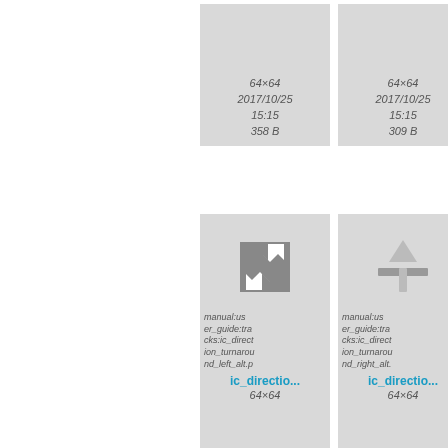[Figure (screenshot): File browser grid view showing icon thumbnails with metadata. Top row: two visible cells with metadata '64×64 / 2017/10/25 / 15:15 / 358 B' and '64×64 / 2017/10/25 / 15:15 / 309 B'. Middle row: two cells with icons (compress arrows icon, up-arrow cross icon) labeled 'ic_directio...' with metadata '64×64 / 2017/10/25 / 15:15 / 1.5 KB' and '64×64 / 2017/10/25 / 15:15 / 870 B'. Bottom row: two cells with broken image alt text 'manual:user_guide:tracks:ic_direction_turnaround_left_alt.p' and 'manual:user_guide:tracks:ic_direction_turnaround_right_alt.' labeled 'ic_directio...' with partial metadata '64×64'.]